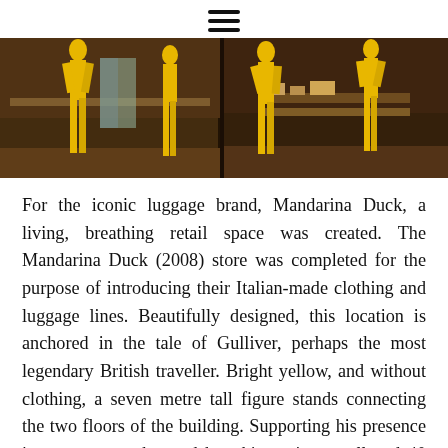☰
[Figure (photo): Store window display showing bright yellow mannequins/figures in a Mandarina Duck retail store, split into two panels with dark interior background]
For the iconic luggage brand, Mandarina Duck, a living, breathing retail space was created. The Mandarina Duck (2008) store was completed for the purpose of introducing their Italian-made clothing and luggage lines. Beautifully designed, this location is anchored in the tale of Gulliver, perhaps the most legendary British traveller. Bright yellow, and without clothing, a seven metre tall figure stands connecting the two floors of the building. Supporting his presence is a two-story chromed breathing mirror wall and 40 other mannequins designed to breathe. Their subtle movements present the